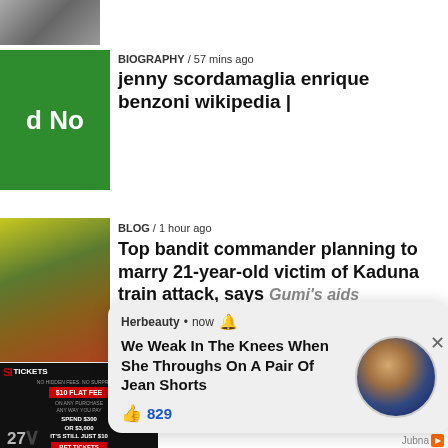[Figure (photo): Grayscale portrait photo cropped at top]
BIOGRAPHY / 57 mins ago
jenny scordamaglia enrique benzoni wikipedia |
BLOG / 1 hour ago
Top bandit commander planning to marry 21-year-old victim of Kaduna train attack, says Gumi's aids
[Figure (screenshot): Herbeauty notification popup: 'We Weak In The Knees When She Throughs On A Pair Of Jean Shorts' with 829 likes and a circular avatar photo of a woman]
[Figure (photo): Blog article thumbnail - crowd protest image]
[Figure (advertisement): SI Tickets ad - football player image with $10 flat fee offer]
We Found the Cheapest Tickets
SI Tickets | Sponsored
Jubna